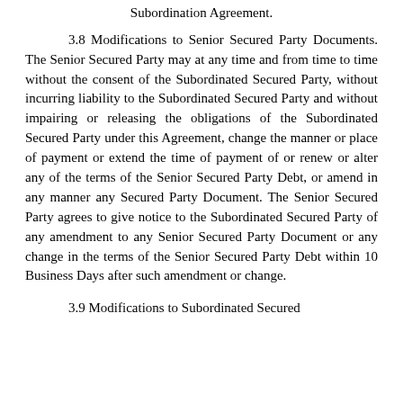Subordination Agreement.
3.8 Modifications to Senior Secured Party Documents. The Senior Secured Party may at any time and from time to time without the consent of the Subordinated Secured Party, without incurring liability to the Subordinated Secured Party and without impairing or releasing the obligations of the Subordinated Secured Party under this Agreement, change the manner or place of payment or extend the time of payment of or renew or alter any of the terms of the Senior Secured Party Debt, or amend in any manner any Secured Party Document. The Senior Secured Party agrees to give notice to the Subordinated Secured Party of any amendment to any Senior Secured Party Document or any change in the terms of the Senior Secured Party Debt within 10 Business Days after such amendment or change.
3.9 Modifications to Subordinated Secured